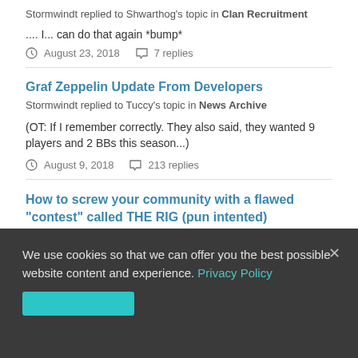Stormwindt replied to Shwarthog's topic in Clan Recruitment
.... I... can do that again *bump*
August 23, 2018    7 replies
Graf Zeppelin Update From Developers
Stormwindt replied to Tuccy's topic in News Archive
(OT: If I remember correctly. They also said, they wanted 9 players and 2 BBs this season...)
August 9, 2018    213 replies
How to screw your community with a flawed "contest" called THE RIG (pun intented)
Stormwindt replied to principat121's topic in General Discussion
We use cookies so that we can offer you the best possible website content and experience. Privacy Policy